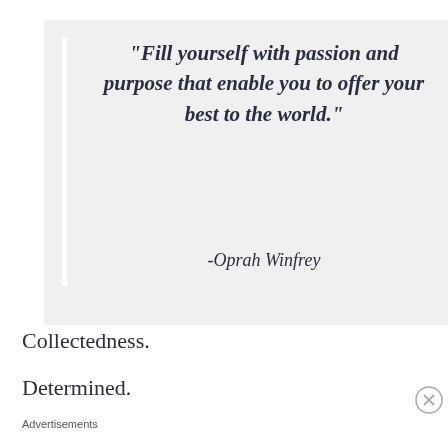[Figure (illustration): A light gray quote box with a white vertical bar on the left side, containing a bold italic quote by Oprah Winfrey in dark navy text]
Collectedness.
Determined.
Advertisements
[Figure (screenshot): Advertisement banner for WordPress Hosting - dark background with white P logo, text 'WORDPRESS HOSTING THAT MEANS BUSINESS.' and an OPEN sign photo on the right]